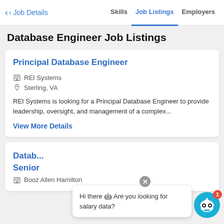< Job Details   Skills   Job Listings   Employers
Database Engineer Job Listings
Principal Database Engineer
REI Systems
Sterling, VA
REI Systems is looking for a Principal Database Engineer to provide leadership, oversight, and management of a complex...
View More Details
Data... Senior
Booz Allen Hamilton
Hi there 🤖 Are you looking for salary data?